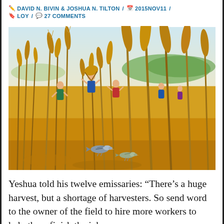DAVID N. BIVIN & JOSHUA N. TILTON / 2015NOV11 / LOY / 27 COMMENTS
[Figure (illustration): Colorful illustration of a wheat harvest field with tall golden grain stalks and several small human figures harvesting in the background, and two birds in the foreground.]
Yeshua told his twelve emissaries: “There’s a huge harvest, but a shortage of harvesters. So send word to the owner of the field to hire more workers to help them finish the job.